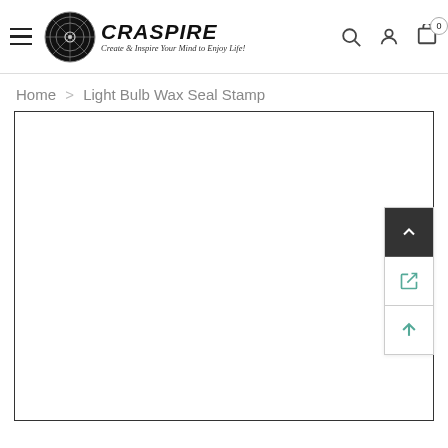CRASPIRE — Create & Inspire Your Mind to Enjoy Life! [navigation header with hamburger menu, search, account, cart icons]
Home > Light Bulb Wax Seal Stamp
[Figure (screenshot): White empty product image area with a black border, containing sidebar UI buttons on the right side: a dark/active up-arrow button, a share/redirect icon button, and an up-arrow scroll button]